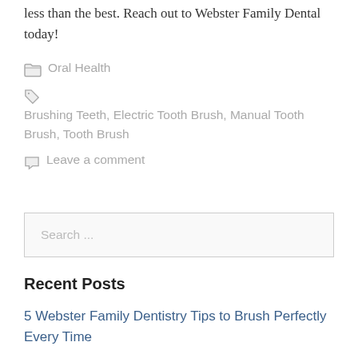less than the best. Reach out to Webster Family Dental today!
Oral Health
Brushing Teeth, Electric Tooth Brush, Manual Tooth Brush, Tooth Brush
Leave a comment
Search ...
Recent Posts
5 Webster Family Dentistry Tips to Brush Perfectly Every Time